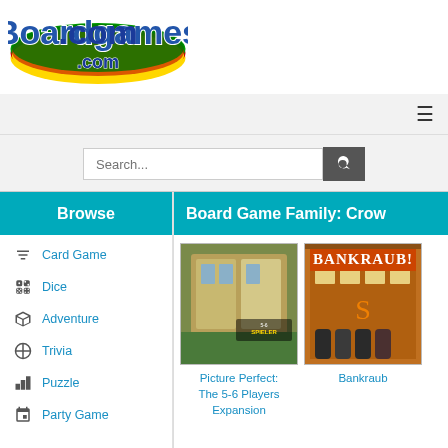[Figure (logo): Boardgames.com logo with colorful oval and stylized text]
[Figure (screenshot): Navigation bar with hamburger menu icon]
[Figure (screenshot): Search bar with search input field and search button]
Browse
Card Game
Dice
Adventure
Trivia
Puzzle
Party Game
Board Game Family: Crow...
[Figure (photo): Picture Perfect: The 5-6 Players Expansion board game cover]
Picture Perfect: The 5-6 Players Expansion
[Figure (photo): Bankraub board game cover]
Bankraub